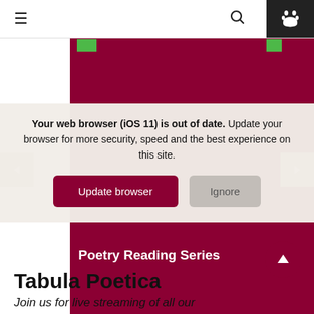[Figure (screenshot): Website navigation bar with hamburger menu icon on left, search icon in center-right area, and dark paw print icon button on far right]
[Figure (screenshot): Carousel area showing dark red/maroon cards with green tags. Left and right navigation arrows visible. Poetry Reading Series text on main card.]
Your web browser (iOS 11) is out of date. Update your browser for more security, speed and the best experience on this site.
[Figure (screenshot): Update browser and Ignore buttons on browser notification overlay]
Tabula Poetica
Join us for live streaming of all our